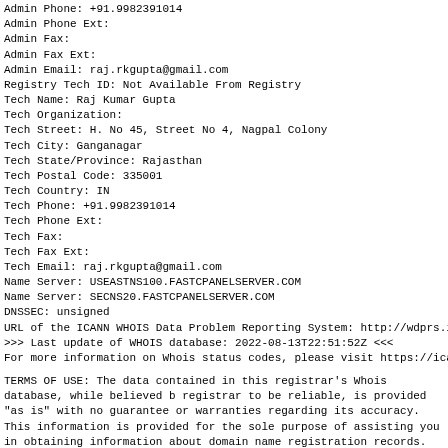Admin Phone: +91.9982391014
Admin Phone Ext:
Admin Fax:
Admin Fax Ext:
Admin Email: raj.rkgupta@gmail.com
Registry Tech ID: Not Available From Registry
Tech Name: Raj Kumar Gupta
Tech Organization:
Tech Street: H. No 45, Street No 4, Nagpal Colony
Tech City: Ganganagar
Tech State/Province: Rajasthan
Tech Postal Code: 335001
Tech Country: IN
Tech Phone: +91.9982391014
Tech Phone Ext:
Tech Fax:
Tech Fax Ext:
Tech Email: raj.rkgupta@gmail.com
Name Server: USEASTNS100.FASTCPANELSERVER.COM
Name Server: SECNS20.FASTCPANELSERVER.COM
DNSSEC: unsigned
URL of the ICANN WHOIS Data Problem Reporting System: http://wdprs.internic.net/
>>> Last update of WHOIS database: 2022-08-13T22:51:52Z <<<
For more information on Whois status codes, please visit https://icann.org/epp
TERMS OF USE: The data contained in this registrar's Whois database, while believed b registrar to be reliable, is provided "as is" with no guarantee or warranties regarding its accuracy. This information is provided for the sole purpose of assisting you in obtaining information about domain name registration records. Any use of this data for any other pu is expressly forbidden without the prior written permission of this registrar. By submitting an inquiry, you agree to these terms and limitations of warranty. In particular, you agree m to use this data to allow, enable, or otherwise support the dissemination or collection of th data, in part or in its entirety, for any purpose, such as transmission by e-mail, telephone, postal mail, facsimile or other means of mass unsolicited, commercial advertising or solic of any kind, including spam. You further agree not to use this data to enable high volume or robotic electronic processes designed to collect or compile this data for any purpose, i mining this data for your own personal or commercial purposes. Failure to comply with th may result in termination of access to the Whois database. These terms may be subject t